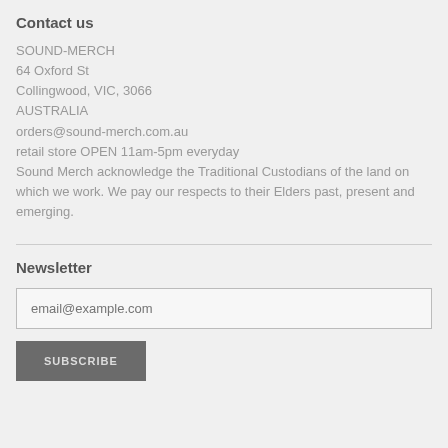Contact us
SOUND-MERCH
64 Oxford St
Collingwood, VIC, 3066
AUSTRALIA
orders@sound-merch.com.au
retail store OPEN 11am-5pm everyday
Sound Merch acknowledge the Traditional Custodians of the land on which we work. We pay our respects to their Elders past, present and emerging.
Newsletter
email@example.com
SUBSCRIBE